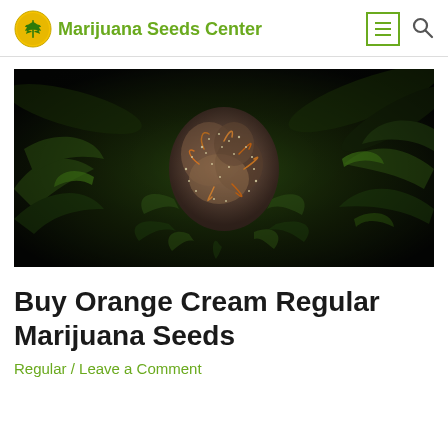Marijuana Seeds Center
[Figure (photo): Close-up macro photograph of a cannabis flower/bud with visible trichomes and orange pistils against a dark background, surrounded by green leaves]
Buy Orange Cream Regular Marijuana Seeds
Regular / Leave a Comment